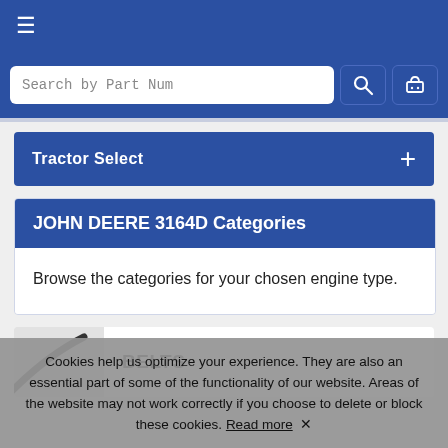≡ (hamburger menu icon)
Search by Part Num
Tractor Select
JOHN DEERE 3164D Categories
Browse the categories for your chosen engine type.
BELTS
Cookies help us optimize your experience. They are also an essential part of some of the functionality of our website. Areas of the website may not work correctly if you choose to delete or block these cookies. Read more ✕